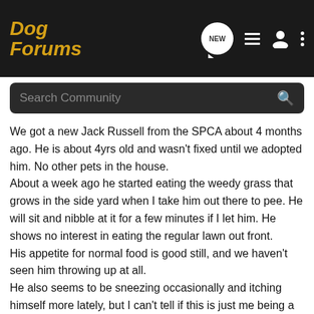Dog Forums
We got a new Jack Russell from the SPCA about 4 months ago. He is about 4yrs old and wasn't fixed until we adopted him. No other pets in the house.
About a week ago he started eating the weedy grass that grows in the side yard when I take him out there to pee. He will sit and nibble at it for a few minutes if I let him. He shows no interest in eating the regular lawn out front.
His appetite for normal food is good still, and we haven't seen him throwing up at all.
He also seems to be sneezing occasionally and itching himself more lately, but I can't tell if this is just me being a worried new parent or not.